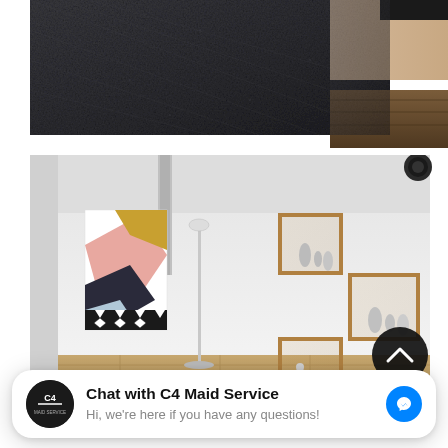[Figure (photo): Close-up photograph of dark charcoal gray upholstered fabric, likely a chair or sofa, with wooden floor visible in the background.]
[Figure (photo): Interior room photo showing a bright white room with a colorful geometric abstract artwork on the wall (pink, mustard, black, white tones), wooden floating box shelves on the right wall with small decorative ceramic objects, a white floor lamp, and a black circular scroll-to-top button in the bottom right corner.]
Chat with C4 Maid Service
Hi, we're here if you have any questions!